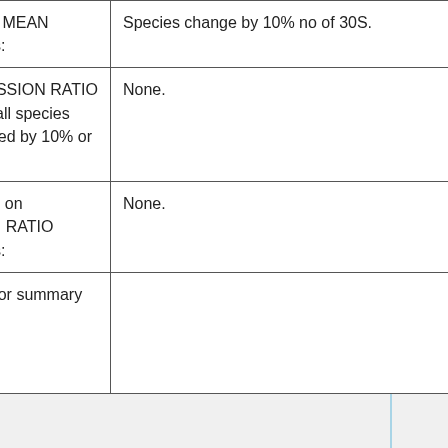| on ZONAL MEAN differences: | Species change by 10% no of 30S. |
| In the EMISSION RATIO maps, list all species that changed by 10% or more: | None. |
| Comments on EMISSION RATIO differences: | None. |
| Additional or summary comments: |  |